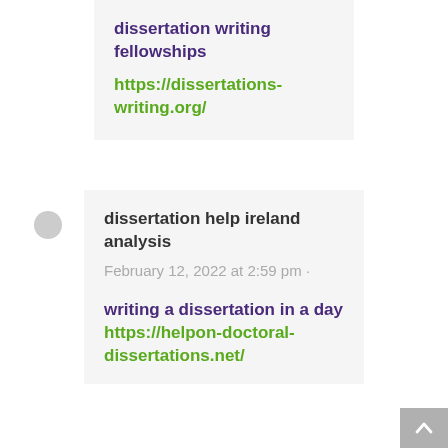dissertation writing fellowships
https://dissertations-writing.org/
dissertation help ireland analysis
February 12, 2022 at 2:59 pm ·
writing a dissertation in a day https://helpon-doctoral-dissertations.net/